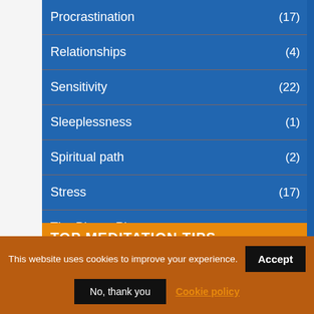Procrastination (17)
Relationships (4)
Sensitivity (22)
Sleeplessness (1)
Spiritual path (2)
Stress (17)
The Bigger Picture (12)
TOP MEDITATION TIPS
This website uses cookies to improve your experience.
Accept
No, thank you
Cookie policy